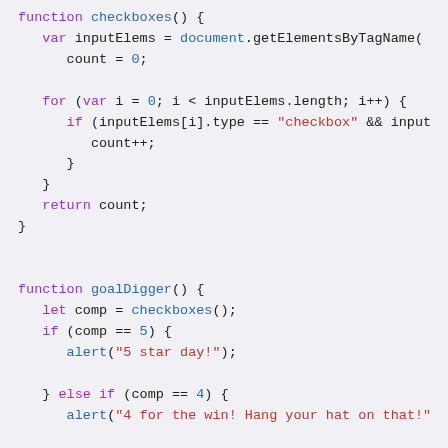[Figure (screenshot): Code snippet showing JavaScript functions: checkboxes() (partial, top) and goalDigger() with if/else if chain checking comp values 5,4,3,2,1 and displaying alert messages.]